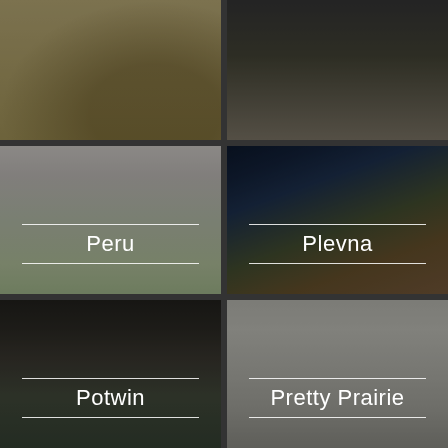[Figure (photo): Partial view of a backyard or outdoor area, top left]
[Figure (photo): Partial view of an interior room with furniture, top right]
[Figure (photo): Interior room with white doors and hardwood floors labeled Peru]
Peru
[Figure (photo): Exterior of a brown craftsman-style home labeled Plevna]
Plevna
[Figure (photo): Exterior of a home with an American flag labeled Potwin]
Potwin
[Figure (photo): Outdoor porch/patio area with dining furniture labeled Pretty Prairie]
Pretty Prairie